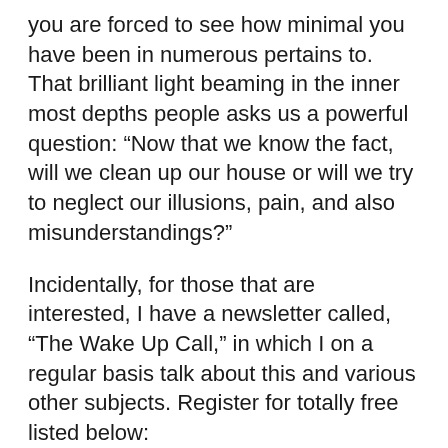you are forced to see how minimal you have been in numerous pertains to. That brilliant light beaming in the inner most depths people asks us a powerful question: “Now that we know the fact, will we clean up our house or will we try to neglect our illusions, pain, and also misunderstandings?”
Incidentally, for those that are interested, I have a newsletter called, “The Wake Up Call,” in which I on a regular basis talk about this and various other subjects. Register for totally free listed below:
If you are starting on the spiritual course or seem like you have actually obtained a little lost, my book may be able to aid lead you: